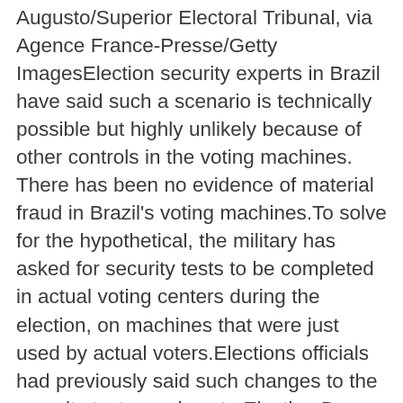Augusto/Superior Electoral Tribunal, via Agence France-Presse/Getty ImagesElection security experts in Brazil have said such a scenario is technically possible but highly unlikely because of other controls in the voting machines. There has been no evidence of material fraud in Brazil's voting machines.To solve for the hypothetical, the military has asked for security tests to be completed in actual voting centers during the election, on machines that were just used by actual voters.Elections officials had previously said such changes to the security tests so close to Election Day were not feasible. But on Wednesday, Mr. Moraes told Paulo Sérgio Nogueira, Brazil's defense minister, that he would try to change the security tests for a